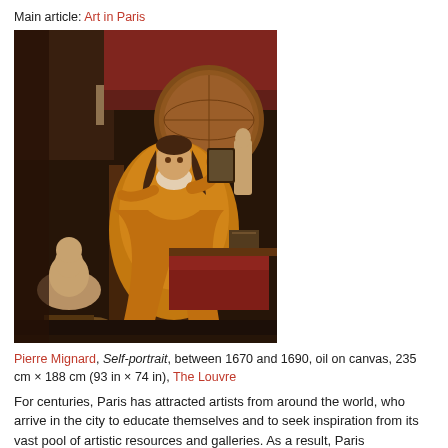Main article: Art in Paris
[Figure (photo): Pierre Mignard Self-portrait painting, between 1670 and 1690, oil on canvas, showing an artist in orange robes seated with a canvas, busts and a globe in background]
Pierre Mignard, Self-portrait, between 1670 and 1690, oil on canvas, 235 cm × 188 cm (93 in × 74 in), The Louvre
For centuries, Paris has attracted artists from around the world, who arrive in the city to educate themselves and to seek inspiration from its vast pool of artistic resources and galleries. As a result, Paris